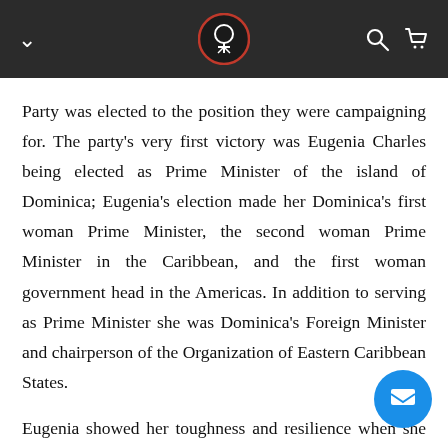Navigation header with logo, chevron, search, and cart icons
Party was elected to the position they were campaigning for. The party's very first victory was Eugenia Charles being elected as Prime Minister of the island of Dominica; Eugenia's election made her Dominica's first woman Prime Minister, the second woman Prime Minister in the Caribbean, and the first woman government head in the Americas. In addition to serving as Prime Minister she was Dominica's Foreign Minister and chairperson of the Organization of Eastern Caribbean States.
Eugenia showed her toughness and resilience when she was able to survive two attempts at a coups d'état. 1981, Frederick Newton attacked the Roseau party headquarters in an attempt to take control of the